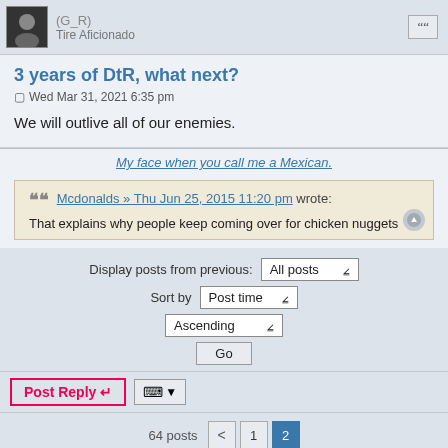(G_R) Tire Aficionado
3 years of DtR, what next?
Wed Mar 31, 2021 6:35 pm
We will outlive all of our enemies.
My face when you call me a Mexican.
Mcdonalds » Thu Jun 25, 2015 11:20 pm wrote: That explains why people keep coming over for chicken nuggets
Display posts from previous: All posts ∨
Sort by Post time ∨
Ascending ∨
Go
Post Reply
64 posts  < 1 2
Jump to